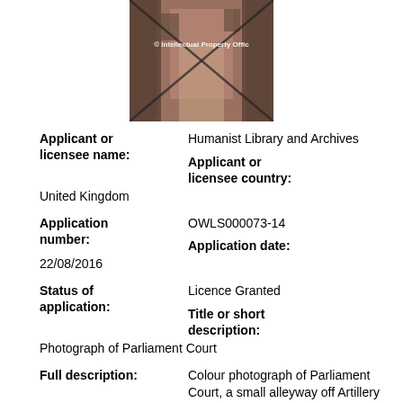[Figure (photo): Photograph of Parliament Court, a small alleyway, shown with an X watermark and Intellectual Property Office watermark overlay]
Applicant or licensee name: Humanist Library and Archives
Applicant or licensee country: United Kingdom
Application number: OWLS000073-14
Application date: 22/08/2016
Status of application: Licence Granted
Title or short description: Photograph of Parliament Court
Full description: Colour photograph of Parliament Court, a small alleyway off Artillery Lane, London